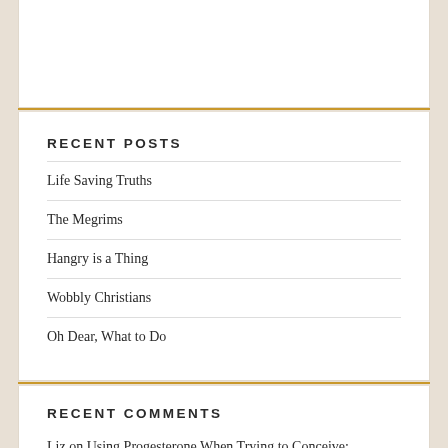RECENT POSTS
Life Saving Truths
The Megrims
Hangry is a Thing
Wobbly Christians
Oh Dear, What to Do
RECENT COMMENTS
Liz on Using Progesterone When Trying to Conceive: